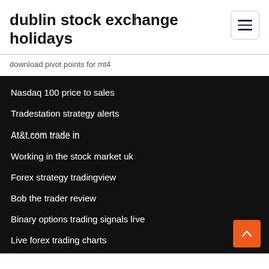dublin stock exchange holidays
download pivot points for mt4
Nasdaq 100 price to sales
Tradestation strategy alerts
At&t.com trade in
Working in the stock market uk
Forex strategy tradingview
Bob the trader review
Binary options trading signals live
Live forex trading charts
Emaar stock earnings
Bitcoin 500 plus